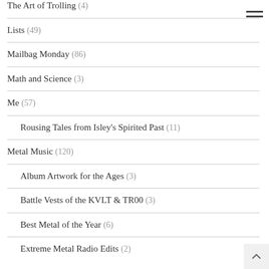The Art of Trolling (4)
Lists (49)
Mailbag Monday (86)
Math and Science (3)
Me (57)
Rousing Tales from Isley's Spirited Past (11)
Metal Music (120)
Album Artwork for the Ages (3)
Battle Vests of the KVLT & TR00 (3)
Best Metal of the Year (6)
Extreme Metal Radio Edits (2)